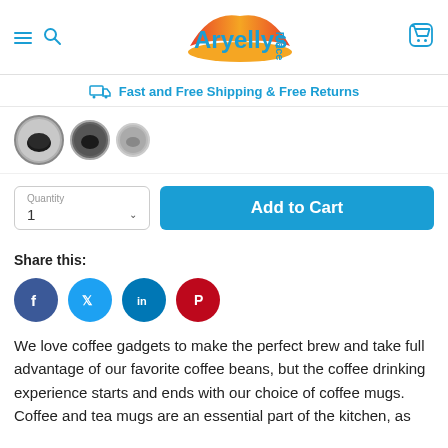[Figure (logo): Aryellys Place logo with blue text and colorful arc/flame design]
Fast and Free Shipping & Free Returns
[Figure (photo): Three circular thumbnail images of coffee mugs]
Quantity 1
Add to Cart
Share this:
[Figure (infographic): Social media share buttons: Facebook, Twitter, LinkedIn, Pinterest]
We love coffee gadgets to make the perfect brew and take full advantage of our favorite coffee beans, but the coffee drinking experience starts and ends with our choice of coffee mugs. Coffee and tea mugs are an essential part of the kitchen, as